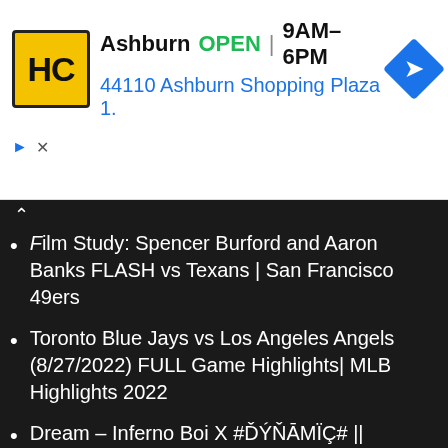[Figure (screenshot): Ad banner for HC (Hamrick's) store in Ashburn showing logo, open status, hours 9AM-6PM, address 44110 Ashburn Shopping Plaza 1., and navigation arrow icon]
Film Study: Spencer Burford and Aaron Banks FLASH vs Texans | San Francisco 49ers
Toronto Blue Jays vs Los Angeles Angels (8/27/2022) FULL Game Highlights| MLB Highlights 2022
Dream – Inferno Boi X #ĎÝŇĀMÏÇ# || OFFICIAL MUSIC VIDEO || #musicvideo || Inferno Boi
Dream – Inferno Boi X #ĎÝŇĀMÏÇ# || OFFICIAL MUSIC VIDEO || #musicvideo ||